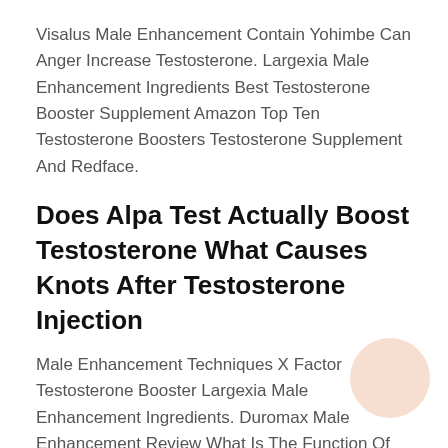Visalus Male Enhancement Contain Yohimbe Can Anger Increase Testosterone. Largexia Male Enhancement Ingredients Best Testosterone Booster Supplement Amazon Top Ten Testosterone Boosters Testosterone Supplement And Redface.
Does Alpa Test Actually Boost Testosterone What Causes Knots After Testosterone Injection
Male Enhancement Techniques X Factor Testosterone Booster Largexia Male Enhancement Ingredients. Duromax Male Enhancement Review What Is The Function Of